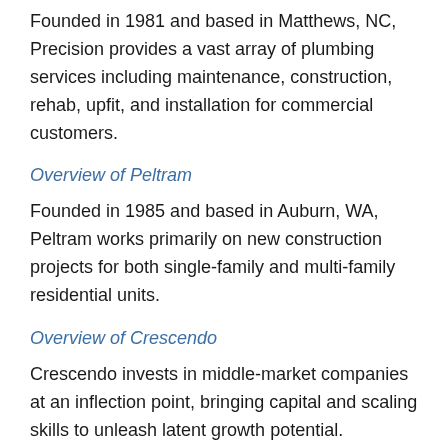Founded in 1981 and based in Matthews, NC, Precision provides a vast array of plumbing services including maintenance, construction, rehab, upfit, and installation for commercial customers.
Overview of Peltram
Founded in 1985 and based in Auburn, WA, Peltram works primarily on new construction projects for both single-family and multi-family residential units.
Overview of Crescendo
Crescendo invests in middle-market companies at an inflection point, bringing capital and scaling skills to unleash latent growth potential. Crescendo has made ~10 acquisitions totaling ~$300M, and has a particular expertise in the construction trades, with 6 such closed